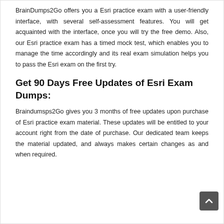BrainDumps2Go offers you a Esri practice exam with a user-friendly interface, with several self-assessment features. You will get acquainted with the interface, once you will try the free demo. Also, our Esri practice exam has a timed mock test, which enables you to manage the time accordingly and its real exam simulation helps you to pass the Esri exam on the first try.
Get 90 Days Free Updates of Esri Exam Dumps:
Braindumsps2Go gives you 3 months of free updates upon purchase of Esri practice exam material. These updates will be entitled to your account right from the date of purchase. Our dedicated team keeps the material updated, and always makes certain changes as and when required.